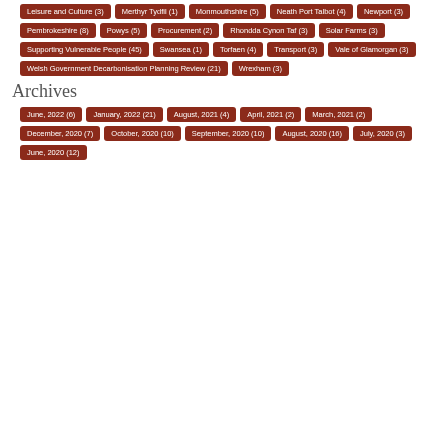Leisure and Culture (3)
Merthyr Tydfil (1)
Monmouthshire (5)
Neath Port Talbot (4)
Newport (3)
Pembrokeshire (8)
Powys (5)
Procurement (2)
Rhondda Cynon Taf (3)
Solar Farms (3)
Supporting Vulnerable People (45)
Swansea (1)
Torfaen (4)
Transport (3)
Vale of Glamorgan (3)
Welsh Government Decarbonisation Planning Review (21)
Wrexham (3)
Archives
June, 2022 (6)
January, 2022 (21)
August, 2021 (4)
April, 2021 (2)
March, 2021 (2)
December, 2020 (7)
October, 2020 (10)
September, 2020 (10)
August, 2020 (16)
July, 2020 (3)
June, 2020 (12)